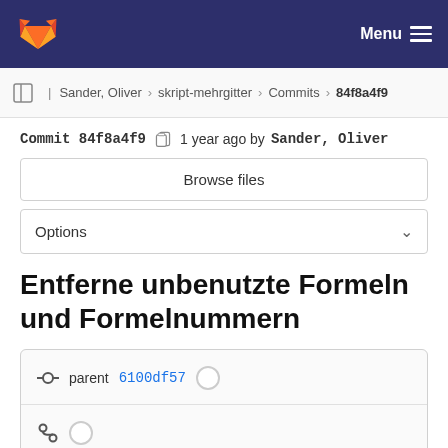GitLab — Menu
Sander, Oliver > skript-mehrgitter > Commits > 84f8a4f9
Commit 84f8a4f9  1 year ago by Sander, Oliver
Browse files
Options
Entferne unbenutzte Formeln und Formelnummern
parent 6100df57